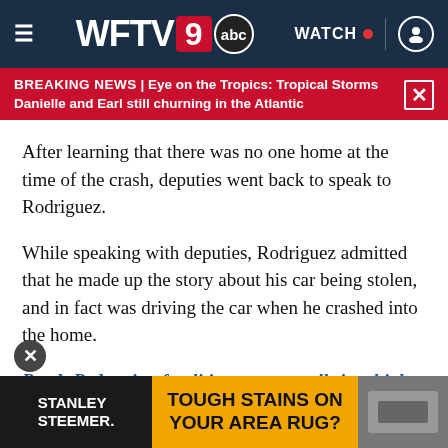WFTV 9 abc | WATCH | user icon
BREAKING NEWS | Eye on the Tropics: Tropical Storms Danielle and Earl still churning in the Atlantic
After learning that there was no one home at the time of the crash, deputies went back to speak to Rodriguez.
While speaking with deputies, Rodriguez admitted that he made up the story about his car being stolen, and in fact was driving the car when he crashed into the home.
Read: Pedestrian fatalities are at an all-time high in Central Florida
[Figure (screenshot): Advertisement banner: STANLEY STEEMER — TOUGH STAINS ON YOUR AREA RUG?]